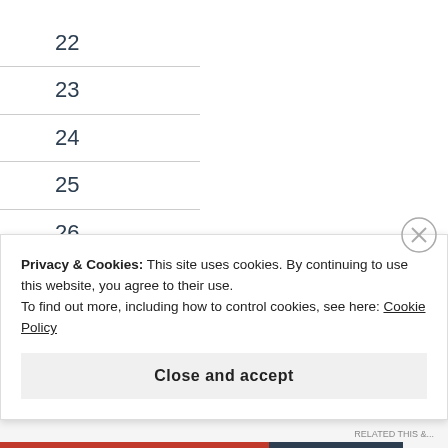22
23
24
25
26
27
28
29
30
Privacy & Cookies: This site uses cookies. By continuing to use this website, you agree to their use.
To find out more, including how to control cookies, see here: Cookie Policy
Close and accept